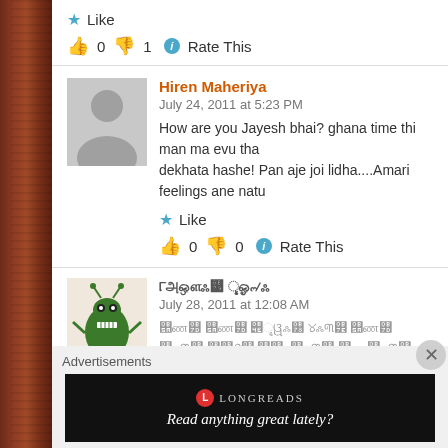Like
👍 0 👎 1 ℹ Rate This
Hiren Maheriya
July 24, 2011 at 5:23 PM
How are you Jayesh bhai? ghana time thi man ma evu tha dekhata hashe! Pan aje joi lidha....Amari feelings ane natu
Like
👍 0 👎 0 ℹ Rate This
(Gujarati commenter name)
July 28, 2011 at 12:08 AM
(Gujarati text)
Advertisements
[Figure (screenshot): Longreads advertisement: black box with Longreads logo and tagline 'Read anything great lately?']